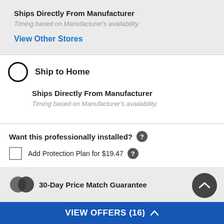Ships Directly From Manufacturer
Timing based on Manufacturer's availability.
View Other Stores
Ship to Home
Ships Directly From Manufacturer
Timing based on Manufacturer's availability.
Want this professionally installed? ?
Add Protection Plan for $19.47 ?
+ Add To Wishlist
30-Day Price Match Guarantee
VIEW OFFERS (16) ^